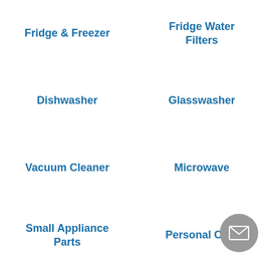Fridge & Freezer
Fridge Water Filters
Dishwasher
Glasswasher
Vacuum Cleaner
Microwave
Small Appliance Parts
Personal Care